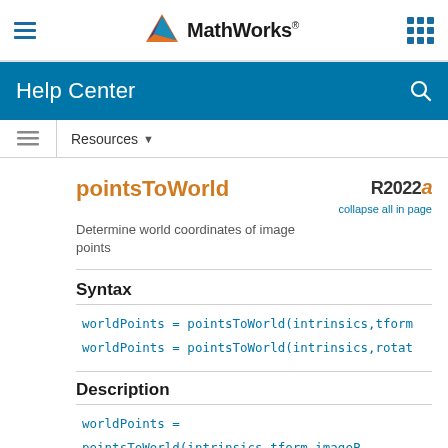MathWorks Help Center
pointsToWorld
Determine world coordinates of image points
Syntax
worldPoints = pointsToWorld(intrinsics,tform
worldPoints = pointsToWorld(intrinsics,rotat
Description
worldPoints =
pointsToWorld(intrinsics,tform,imageP